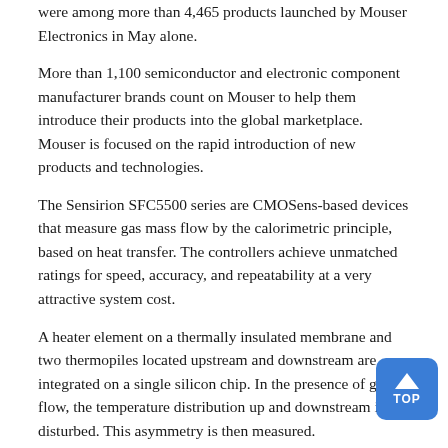were among more than 4,465 products launched by Mouser Electronics in May alone.
More than 1,100 semiconductor and electronic component manufacturer brands count on Mouser to help them introduce their products into the global marketplace. Mouser is focused on the rapid introduction of new products and technologies.
The Sensirion SFC5500 series are CMOSens-based devices that measure gas mass flow by the calorimetric principle, based on heat transfer. The controllers achieve unmatched ratings for speed, accuracy, and repeatability at a very attractive system cost.
A heater element on a thermally insulated membrane and two thermopiles located upstream and downstream are integrated on a single silicon chip. In the presence of gas flow, the temperature distribution up and downstream is disturbed. This asymmetry is then measured.